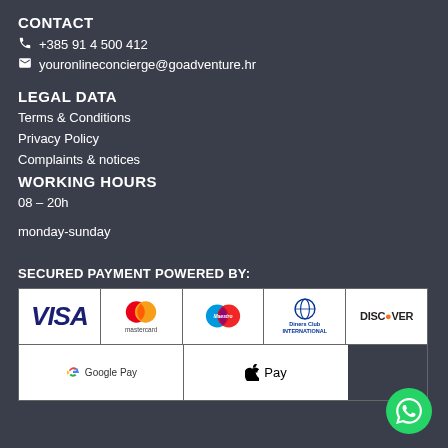CONTACT
📞 +385 91 4 500 412
✉ youronlineconcierge@goadventure.hr
LEGAL DATA
Terms & Conditions
Privacy Policy
Complaints & notices
WORKING HOURS
08 – 20h
monday-sunday
SECURED PAYMENT POWERED BY:
[Figure (illustration): Payment logos: VISA, Mastercard, Maestro, Diners Club International, Discover, Google Pay, Apple Pay]